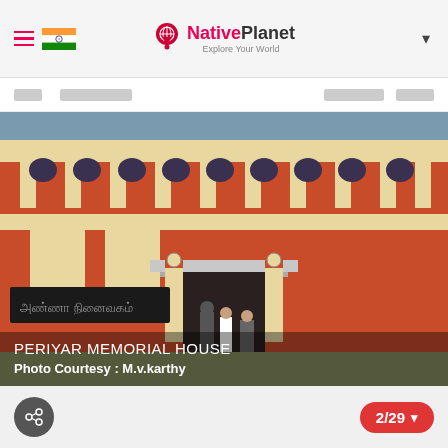[Figure (screenshot): NativePlanet website header with hamburger menu, Indian flag, NativePlanet logo with globe pin icon and 'Explore Your World' tagline, and dropdown chevron]
[Figure (screenshot): Navigation bar with blurred/redacted menu items on left and right]
[Figure (photo): Photo of Periyar Memorial House - a red and cream building with Tamil architectural elements, columns, decorative motifs, and a sign in Tamil script reading 'Anna Ninaivagam'. People visible at entrance.]
PERIYAR MEMORIAL HOUSE
Photo Courtesy : M.v.karthy
[Figure (screenshot): Bottom bar with share icon button and image counter showing 2/29 with dropdown chevron]